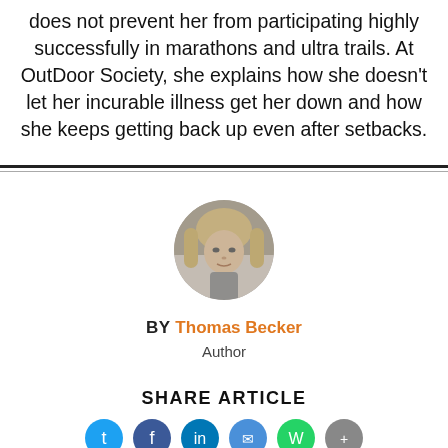does not prevent her from participating highly successfully in marathons and ultra trails. At OutDoor Society, she explains how she doesn't let her incurable illness get her down and how she keeps getting back up even after setbacks.
[Figure (photo): Circular author portrait photo of Thomas Becker, a man with long blond hair, shown in black and white/grayscale]
BY Thomas Becker
Author
SHARE ARTICLE
[Figure (illustration): Row of social media share icon circles (partially visible at bottom): Twitter/blue, Facebook/dark blue, LinkedIn/blue, another blue, WhatsApp/green, and one more]